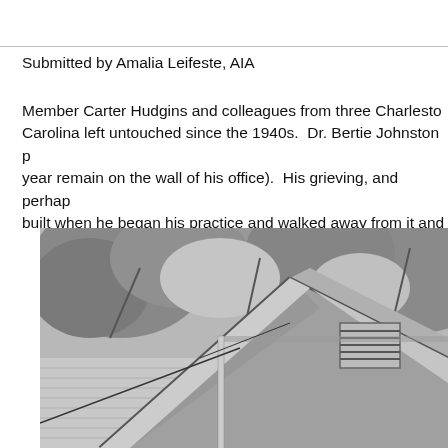Submitted by Amalia Leifeste, AIA
Member Carter Hudgins and colleagues from three Charleston Carolina left untouched since the 1940s.  Dr. Bertie Johnston p year remain on the wall of his office).  His grieving, and perhap built when he began his practice and walked away from it and
[Figure (photo): Black and white photograph showing the roofline and upper corner of a historic wooden house or building with siding, louvered attic vent, gabled roof, and surrounding trees in the background.]